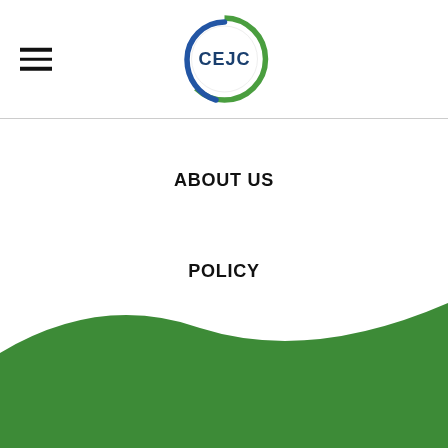[Figure (logo): CEJC circular logo with blue and green swoosh elements around the letters CEJC]
ABOUT US
POLICY
PUBLICATIONS
JOIN US
[Figure (illustration): Green wave/hill shape forming the bottom background of the page]